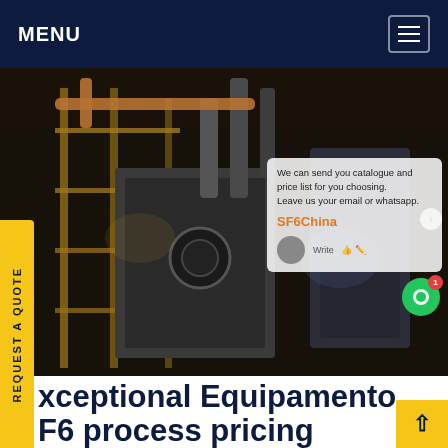MENU
[Figure (photo): Industrial equipment/machinery with scaffolding, pipes and structures in a dark industrial setting. Overlay chat widget showing 'We can send you catalogue and price list for you choosing. Leave us your email or whatsapp.' with SF6China branding.]
Exceptional Equipamento F6 process pricing
SF6/SO2. As elevadas temperaturas envolvem a aceleração da contaminação por. carbono devi reacções com o CO2 da atmosfera. O resultado é